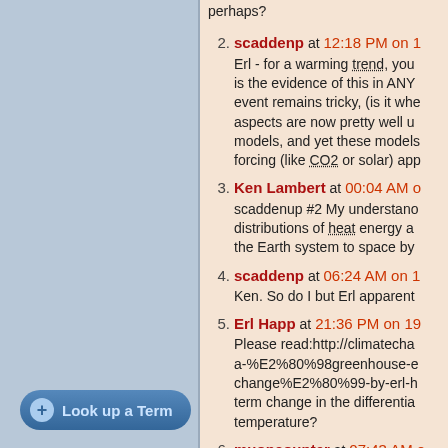perhaps?
2. scaddenp at 12:18 PM on 1... Erl - for a warming trend, you is the evidence of this in ANY event remains tricky, (is it whe aspects are now pretty well u models, and yet these models forcing (like CO2 or solar) app
3. Ken Lambert at 00:04 AM o... scaddenup #2 My understand distributions of heat energy a the Earth system to space by
4. scaddenp at 06:24 AM on 1... Ken. So do I but Erl apparent
5. Erl Happ at 21:36 PM on 19... Please read:http://climatecha a-%E2%80%98greenhouse-e change%E2%80%99-by-erl-h term change in the differentia temperature?
6. muoncounter at 07:43 AM o... Continuing from #20 on the G
Look up a Term